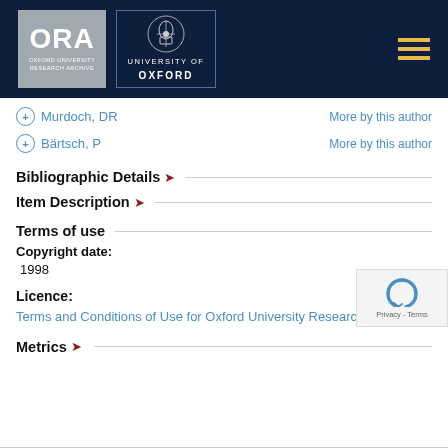[Figure (logo): ORA Oxford University Research Archive logo and University of Oxford crest logo on dark navy header bar with hamburger menu icon]
+ Murdoch, DR   More by this author
+ Bärtsch, P   More by this author
Bibliographic Details
Item Description
Terms of use
Copyright date:
1998
Licence:
Terms and Conditions of Use for Oxford University Research Archive
Metrics